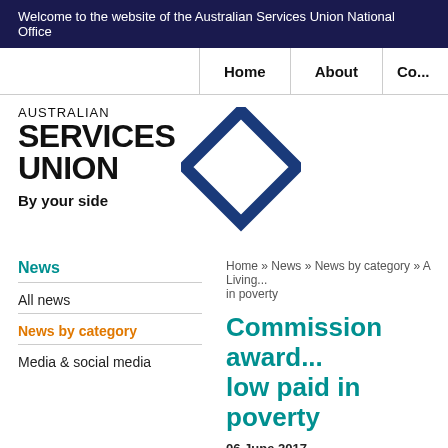Welcome to the website of the Australian Services Union National Office
[Figure (logo): Australian Services Union logo with diamond shape and tagline 'By your side']
News
All news
News by category
Media & social media
Home » News » News by category » A Living... in poverty
Commission award... low paid in poverty
06 June 2017